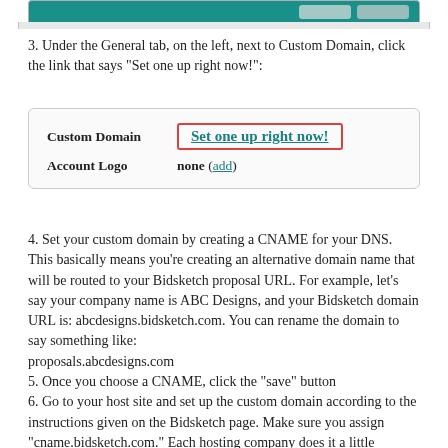[Figure (screenshot): Top portion of a UI screenshot showing a teal/green header bar, cropped at the top of the page]
3. Under the General tab, on the left, next to Custom Domain, click the link that says "Set one up right now!":
[Figure (screenshot): A UI panel showing two rows: 'Custom Domain' with a highlighted link 'Set one up right now!' in a red border box, and 'Account Logo' with 'none (add)']
4. Set your custom domain by creating a CNAME for your DNS. This basically means you're creating an alternative domain name that will be routed to your Bidsketch proposal URL. For example, let's say your company name is ABC Designs, and your Bidsketch domain URL is: abcdesigns.bidsketch.com. You can rename the domain to say something like:
proposals.abcdesigns.com
5. Once you choose a CNAME, click the "save" button
6. Go to your host site and set up the custom domain according to the instructions given on the Bidsketch page. Make sure you assign "cname.bidsketch.com." Each hosting company does it a little differently, but most are very good about assisting with